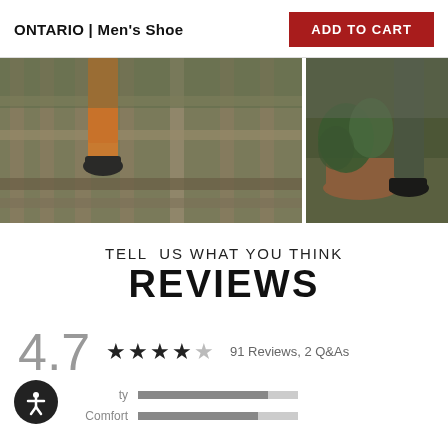ONTARIO | Men's Shoe
ADD TO CART
[Figure (photo): Two outdoor photos of a man wearing the Ontario men's shoe on a wooden deck/stairs surrounded by plants]
TELL US WHAT YOU THINK
REVIEWS
4.7  ★★★★½  91 Reviews, 2 Q&As
Quality  [progress bar]
Comfort  [progress bar]